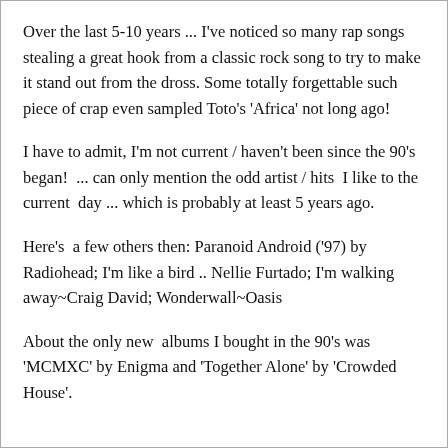Over the last 5-10 years ... I've noticed so many rap songs stealing a great hook from a classic rock song to try to make it stand out from the dross. Some totally forgettable such piece of crap even sampled Toto's 'Africa' not long ago!
I have to admit, I'm not current / haven't been since the 90's began! ... can only mention the odd artist / hits  I like to the current  day ... which is probably at least 5 years ago.
Here's  a few others then: Paranoid Android ('97) by Radiohead; I'm like a bird .. Nellie Furtado; I'm walking away~Craig David; Wonderwall~Oasis
About the only new  albums I bought in the 90's was 'MCMXC' by Enigma and 'Together Alone' by 'Crowded House'.